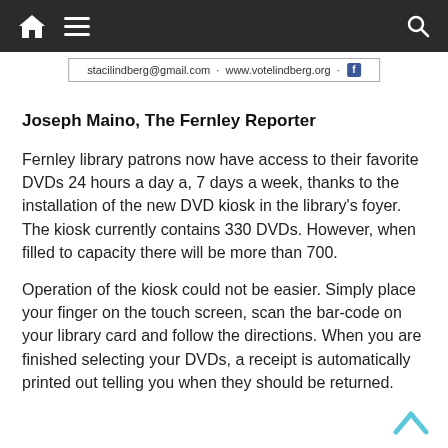Navigation bar with home, menu, and search icons
[Figure (other): Banner with email stacilindberg@gmail.com · www.votelindberg.org and Facebook icon]
Joseph Maino, The Fernley Reporter
Fernley library patrons now have access to their favorite DVDs 24 hours a day a, 7 days a week, thanks to the installation of the new DVD kiosk in the library's foyer.  The kiosk currently contains 330 DVDs. However, when filled to capacity there will be more than 700.
Operation of the kiosk could not be easier. Simply place your finger on the touch screen, scan the bar-code on your library card and follow the directions. When you are finished selecting your DVDs, a receipt is automatically printed out telling you when they should be returned.